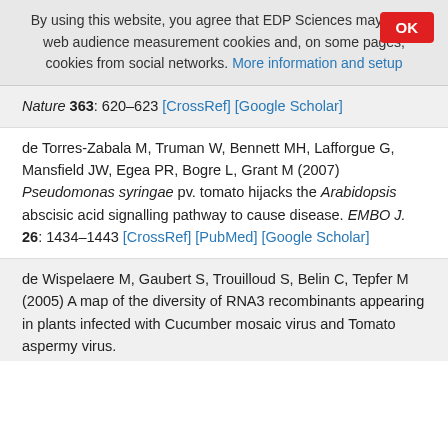By using this website, you agree that EDP Sciences may store web audience measurement cookies and, on some pages, cookies from social networks. More information and setup
Nature 363: 620–623 [CrossRef] [Google Scholar]
de Torres-Zabala M, Truman W, Bennett MH, Lafforgue G, Mansfield JW, Egea PR, Bogre L, Grant M (2007) Pseudomonas syringae pv. tomato hijacks the Arabidopsis abscisic acid signalling pathway to cause disease. EMBO J. 26: 1434–1443 [CrossRef] [PubMed] [Google Scholar]
de Wispelaere M, Gaubert S, Trouilloud S, Belin C, Tepfer M (2005) A map of the diversity of RNA3 recombinants appearing in plants infected with Cucumber mosaic virus and Tomato aspermy virus.